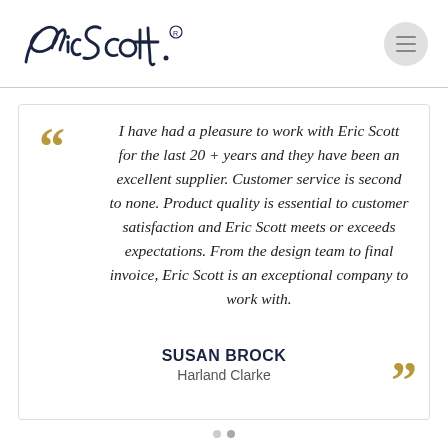[Figure (logo): Eric Scott cursive signature logo in dark navy blue with registered trademark symbol]
I have had a pleasure to work with Eric Scott for the last 20 + years and they have been an excellent supplier. Customer service is second to none. Product quality is essential to customer satisfaction and Eric Scott meets or exceeds expectations. From the design team to final invoice, Eric Scott is an exceptional company to work with.
SUSAN BROCK
Harland Clarke